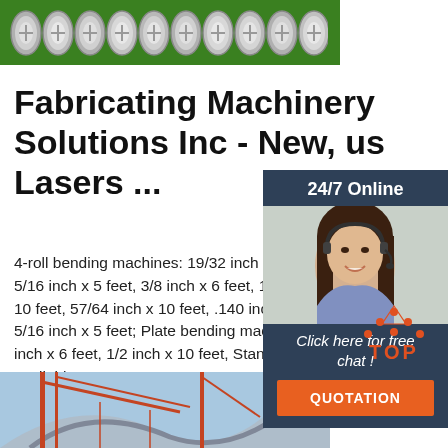[Figure (photo): Row of silver screws/bolts on a green background, top banner image]
Fabricating Machinery Solutions Inc - New, us Lasers ...
4-roll bending machines: 19/32 inch x 10 5/16 inch x 5 feet, 3/8 inch x 6 feet, 11/1 10 feet, 57/64 inch x 10 feet, .140 inch x 5/16 inch x 5 feet; Plate bending machin inch x 6 feet, 1/2 inch x 10 feet, Standard available upon ...
[Figure (screenshot): Chat widget with 24/7 Online label, photo of female customer service agent with headset, Click here for free chat text, and QUOTATION button]
Get Price
[Figure (photo): Industrial crane and curved metal structure against blue sky, bottom banner image]
[Figure (logo): TOP logo with orange dot pattern above letters]